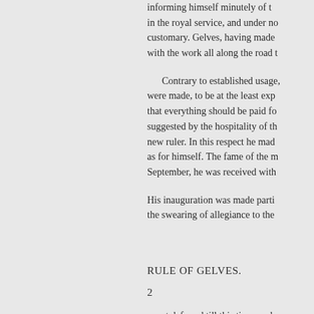informing himself minutely of the in the royal service, and under no customary. Gelves, having made with the work all along the road t
Contrary to established usage, were made, to be at the least exp that everything should be paid fo suggested by the hospitality of th new ruler. In this respect he mad as for himself. The fame of the m September, he was received with
His inauguration was made parti the swearing of allegiance to the
RULE OF GELVES.
2
event deferred till this time, and significance in it all more than us but under his rule Spain had suff high position attained during th